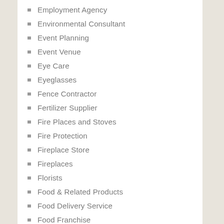Employment Agency
Environmental Consultant
Event Planning
Event Venue
Eye Care
Eyeglasses
Fence Contractor
Fertilizer Supplier
Fire Places and Stoves
Fire Protection
Fireplace Store
Fireplaces
Florists
Food & Related Products
Food Delivery Service
Food Franchise
Foundation Repair